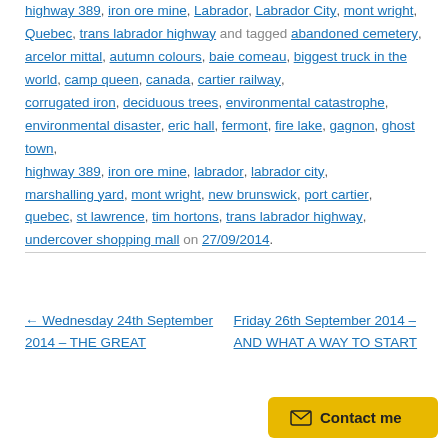highway 389, iron ore mine, Labrador, Labrador City, mont wright, Quebec, trans labrador highway and tagged abandoned cemetery, arcelor mittal, autumn colours, baie comeau, biggest truck in the world, camp queen, canada, cartier railway, corrugated iron, deciduous trees, environmental catastrophe, environmental disaster, eric hall, fermont, fire lake, gagnon, ghost town, highway 389, iron ore mine, labrador, labrador city, marshalling yard, mont wright, new brunswick, port cartier, quebec, st lawrence, tim hortons, trans labrador highway, undercover shopping mall on 27/09/2014.
← Wednesday 24th September 2014 – THE GREAT
Friday 26th September 2014 – AND WHAT A WAY TO START